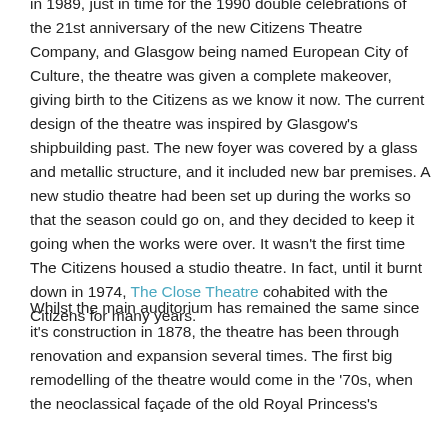in 1989, just in time for the 1990 double celebrations of the 21st anniversary of the new Citizens Theatre Company, and Glasgow being named European City of Culture, the theatre was given a complete makeover, giving birth to the Citizens as we know it now. The current design of the theatre was inspired by Glasgow's shipbuilding past. The new foyer was covered by a glass and metallic structure, and it included new bar premises. A new studio theatre had been set up during the works so that the season could go on, and they decided to keep it going when the works were over. It wasn't the first time The Citizens housed a studio theatre. In fact, until it burnt down in 1974, The Close Theatre cohabited with the Citizens for many years.
Whilst the main auditorium has remained the same since it's construction in 1878, the theatre has been through renovation and expansion several times. The first big remodelling of the theatre would come in the '70s, when the neoclassical façade of the old Royal Princess's